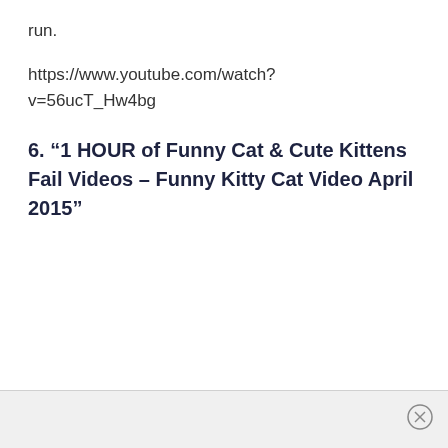run.
https://www.youtube.com/watch?v=56ucT_Hw4bg
6. “1 HOUR of Funny Cat & Cute Kittens Fail Videos – Funny Kitty Cat Video April 2015”